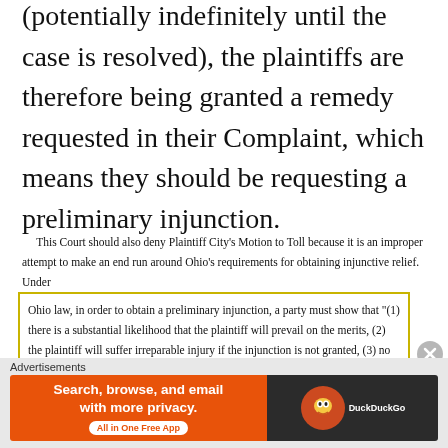(potentially indefinitely until the case is resolved), the plaintiffs are therefore being granted a remedy requested in their Complaint, which means they should be requesting a preliminary injunction.
This Court should also deny Plaintiff City’s Motion to Toll because it is an improper attempt to make an end run around Ohio’s requirements for obtaining injunctive relief. Under
Ohio law, in order to obtain a preliminary injunction, a party must show that “(1) there is a substantial likelihood that the plaintiff will prevail on the merits, (2) the plaintiff will suffer irreparable injury if the injunction is not granted, (3) no third parties will be unjustifiably harmed if the injunction is granted, and (4) the public interest will be served by the injunction.” Vineyard Christian Fellowship v. Anderson, 2015-Ohio-5083, 53 N.E.3d 910, at ¶ 11 (10th Dist.
[Figure (infographic): DuckDuckGo advertisement banner: orange section with text 'Search, browse, and email with more privacy. All in One Free App' and DuckDuckGo duck logo on dark background]